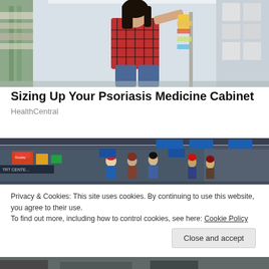[Figure (photo): Woman in plaid shirt crouching in a pharmacy/store aisle, examining a product from the shelf.]
Sizing Up Your Psoriasis Medicine Cabinet
HealthCentral
[Figure (photo): Wide shot of a busy retail store (Walmart-style) interior with shoppers and holiday hats, colorful signage.]
Privacy & Cookies: This site uses cookies. By continuing to use this website, you agree to their use.
To find out more, including how to control cookies, see here: Cookie Policy
Close and accept
[Figure (photo): Partial view of another store/retail image at the bottom of the page.]